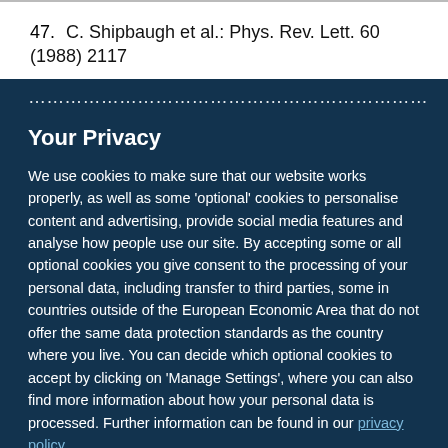47. C. Shipbaugh et al.: Phys. Rev. Lett. 60 (1988) 2117
Your Privacy
We use cookies to make sure that our website works properly, as well as some 'optional' cookies to personalise content and advertising, provide social media features and analyse how people use our site. By accepting some or all optional cookies you give consent to the processing of your personal data, including transfer to third parties, some in countries outside of the European Economic Area that do not offer the same data protection standards as the country where you live. You can decide which optional cookies to accept by clicking on 'Manage Settings', where you can also find more information about how your personal data is processed. Further information can be found in our privacy policy.
Accept all cookies
Manage preferences